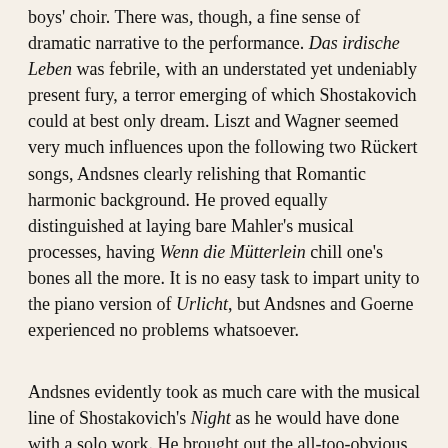boys' choir. There was, though, a fine sense of dramatic narrative to the performance. Das irdische Leben was febrile, with an understated yet undeniably present fury, a terror emerging of which Shostakovich could at best only dream. Liszt and Wagner seemed very much influences upon the following two Rückert songs, Andsnes clearly relishing that Romantic harmonic background. He proved equally distinguished at laying bare Mahler's musical processes, having Wenn die Mütterlein chill one's bones all the more. It is no easy task to impart unity to the piano version of Urlicht, but Andsnes and Goerne experienced no problems whatsoever.
Andsnes evidently took as much care with the musical line of Shostakovich's Night as he would have done with a solo work. He brought out the all-too-obvious 'quirkiness' of Immortality, and there could be no faulting strength or starkness in the performance from either artists of Death. It was always a relief, though, to return to Mahler. The